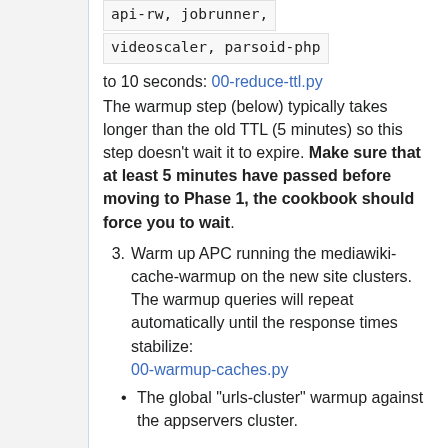api-rw, jobrunner, videoscaler, parsoid-php to 10 seconds: 00-reduce-ttl.py The warmup step (below) typically takes longer than the old TTL (5 minutes) so this step doesn't wait it to expire. Make sure that at least 5 minutes have passed before moving to Phase 1, the cookbook should force you to wait.
3. Warm up APC running the mediawiki-cache-warmup on the new site clusters. The warmup queries will repeat automatically until the response times stabilize: 00-warmup-caches.py
The global "urls-cluster" warmup against the appservers cluster.